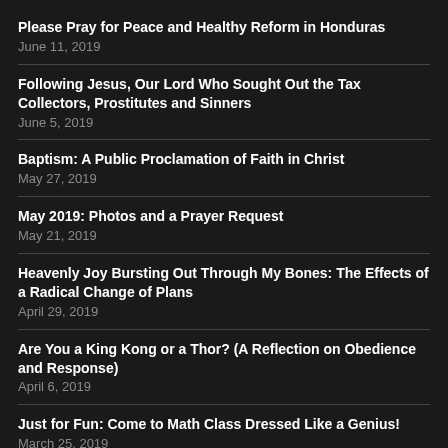Please Pray for Peace and Healthy Reform in Honduras
June 11, 2019
Following Jesus, Our Lord Who Sought Out the Tax Collectors, Prostitutes and Sinners
June 5, 2019
Baptism: A Public Proclamation of Faith in Christ
May 27, 2019
May 2019: Photos and a Prayer Request
May 21, 2019
Heavenly Joy Bursting Out Through My Bones: The Effects of a Radical Change of Plans
April 29, 2019
Are You a King Kong or a Thor? (A Reflection on Obedience and Response)
April 6, 2019
Just for Fun: Come to Math Class Dressed Like a Genius!
March 25, 2019
Monthly Update: March 2019